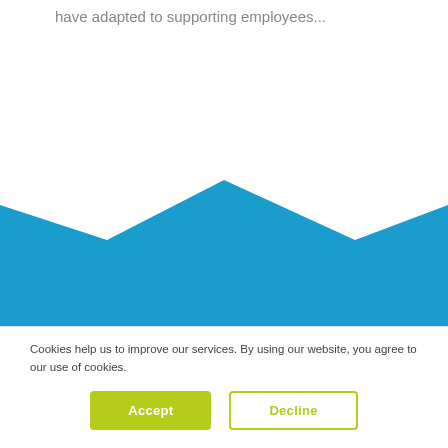have adapted to supporting employees...
[Figure (illustration): Blue decorative geometric shape resembling an angular envelope or mountain-valley form on white background]
Cookies help us to improve our services. By using our website, you agree to our use of cookies.
Accept
Decline